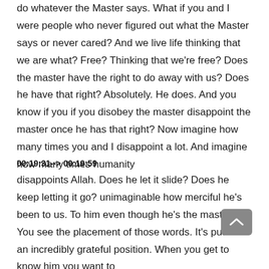do whatever the Master says. What if you and I were people who never figured out what the Master says or never cared? And we live life thinking that we are what? Free? Thinking that we're free? Does the master have the right to do away with us? Does he have that right? Absolutely. He does. And you know if you if you disobey the master disappoint the master once he has that right? Now imagine how many times you and I disappoint a lot. And imagine how many times humanity
00:19:31--> 00:19:59
disappoints Allah. Does he let it slide? Does he keep letting it go? unimaginable how merciful he's been to us. To him even though he's the master. You see the placement of those words. It's put us in an incredibly grateful position. When you get to know him you want to